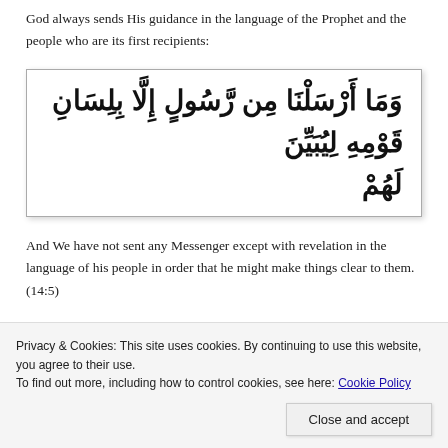God always sends His guidance in the language of the Prophet and the people who are its first recipients:
[Figure (other): Arabic text in a bordered box: وَمَا أَرْسَلْنَا مِن رَّسُولٍ إِلَّا بِلِسَانِ قَوْمِهِ لِيُبَيِّنَ لَهُمْ]
And We have not sent any Messenger except with revelation in the language of his people in order that he might make things clear to them. (14:5)
[Figure (photo): Partial photo of a person in light-colored clothing, visible in the bottom-right corner]
Privacy & Cookies: This site uses cookies. By continuing to use this website, you agree to their use.
To find out more, including how to control cookies, see here: Cookie Policy